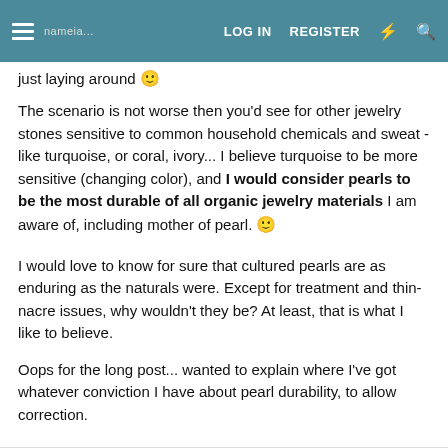LOG IN   REGISTER
just laying around 🙂
The scenario is not worse then you'd see for other jewelry stones sensitive to common household chemicals and sweat - like turquoise, or coral, ivory... I believe turquoise to be more sensitive (changing color), and I would consider pearls to be the most durable of all organic jewelry materials I am aware of, including mother of pearl. 🙂
I would love to know for sure that cultured pearls are as enduring as the naturals were. Except for treatment and thin-nacre issues, why wouldn't they be? At least, that is what I like to believe.
Oops for the long post... wanted to explain where I've got whatever conviction I have about pearl durability, to allow correction.